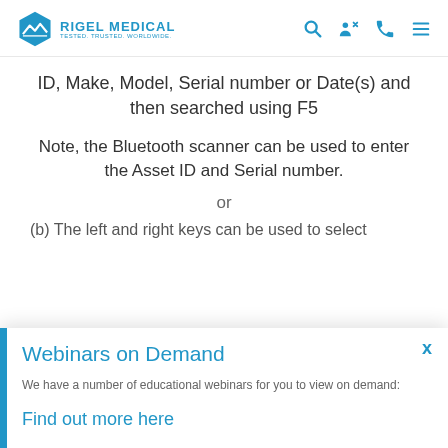Rigel Medical - Tested. Trusted. Worldwide.
ID, Make, Model, Serial number or Date(s) and then searched using F5
Note, the Bluetooth scanner can be used to enter the Asset ID and Serial number.
or
(b) The left and right keys can be used to select
Webinars on Demand
We have a number of educational webinars for you to view on demand:
Find out more here